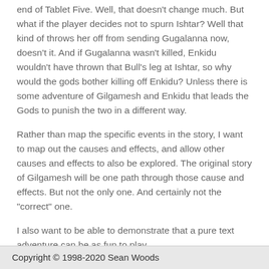end of Tablet Five. Well, that doesn't change much. But what if the player decides not to spurn Ishtar? Well that kind of throws her off from sending Gugalanna now, doesn't it. And if Gugalanna wasn't killed, Enkidu wouldn't have thrown that Bull's leg at Ishtar, so why would the gods bother killing off Enkidu? Unless there is some adventure of Gilgamesh and Enkidu that leads the Gods to punish the two in a different way.
Rather than map the specific events in the story, I want to map out the causes and effects, and allow other causes and effects to also be explored. The original story of Gilgamesh will be one path through those cause and effects. But not the only one. And certainly not the "correct" one.
I also want to be able to demonstrate that a pure text adventure can be as fun to play.
Copyright © 1998-2020 Sean Woods